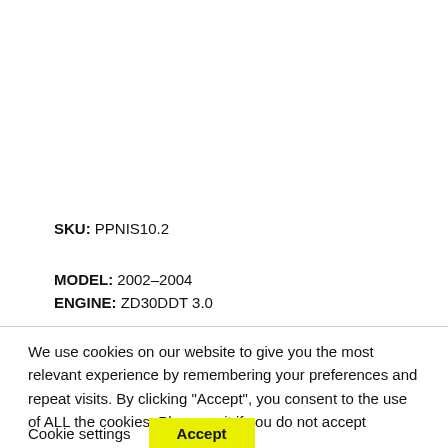SKU: PPNIS10.2
MODEL: 2002-2004
ENGINE: ZD30DDT 3.0
We use cookies on our website to give you the most relevant experience by remembering your preferences and repeat visits. By clicking “Accept”, you consent to the use of ALL the cookies. Please exit if you do not accept
Cookie settings  Accept